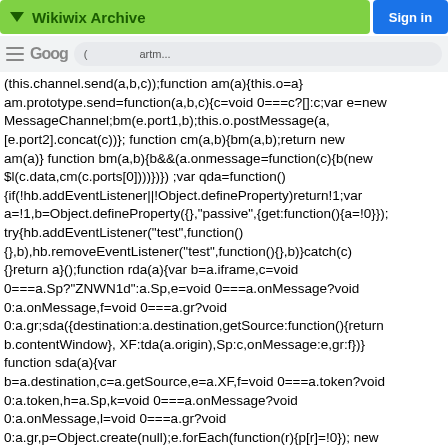Wikiwix Archive | Sign in
(this.channel.send(a,b,c));function am(a){this.o=a} am.prototype.send=function(a,b,c){c=void 0===c?[]:c;var e=new MessageChannel;bm(e.port1,b);this.o.postMessage(a, [e.port2].concat(c))}; function cm(a,b){bm(a,b);return new am(a)} function bm(a,b){b&&(a.onmessage=function(c){b(new $l(c.data,cm(c.ports[0])))})}) ;var qda=function() {if(!hb.addEventListener||!Object.defineProperty)return!1;var a=!1,b=Object.defineProperty({},'passive',{get:function(){a=!0}}); try{hb.addEventListener('test',function() {},b),hb.removeEventListener('test',function(){},b)}catch(c) {}return a}();function rda(a){var b=a.iframe,c=void 0===a.Sp?'ZNWN1d':a.Sp,e=void 0===a.onMessage?void 0:a.onMessage,f=void 0===a.gr?void 0:a.gr;sda({destination:a.destination,getSource:function(){return b.contentWindow}, XF:tda(a.origin),Sp:c,onMessage:e,gr:f})} function sda(a){var b=a.destination,c=a.getSource,e=a.XF,f=void 0===a.token?void 0:a.token,h=a.Sp,k=void 0===a.onMessage?void 0:a.onMessage,l=void 0===a.gr?void 0:a.gr 0:a.gr,p=Object.create(null);e.forEach(function(r){p[r]=!0}); new